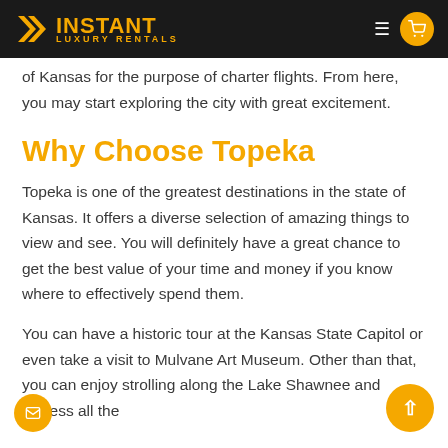INSTANT LUXURY RENTALS
of Kansas for the purpose of charter flights. From here, you may start exploring the city with great excitement.
Why Choose Topeka
Topeka is one of the greatest destinations in the state of Kansas. It offers a diverse selection of amazing things to view and see. You will definitely have a great chance to get the best value of your time and money if you know where to effectively spend them.
You can have a historic tour at the Kansas State Capitol or even take a visit to Mulvane Art Museum. Other than that, you can enjoy strolling along the Lake Shawnee and witness all the